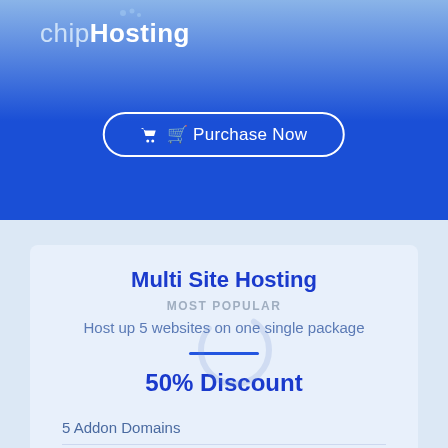chipHosting
Purchase Now
Multi Site Hosting
MOST POPULAR
Host up 5 websites on one single package
50% Discount
5 Addon Domains
UNLIMITED SSL Certificates
12,000MB Disk Space
UNLIMITED Bandwidth